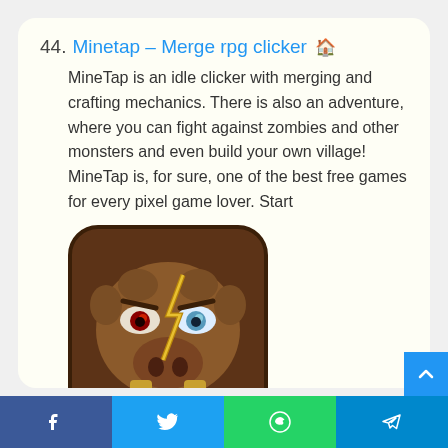44. Minetap – Merge rpg clicker
MineTap is an idle clicker with merging and crafting mechanics. There is also an adventure, where you can fight against zombies and other monsters and even build your own village! MineTap is, for sure, one of the best free games for every pixel game lover. Start
[Figure (illustration): App icon for Minetap game showing an angry cartoon boar/pig face with red and blue eyes, a lightning bolt scar, tusks, on a brown rounded-square background]
Facebook | Twitter | WhatsApp | Telegram social share buttons